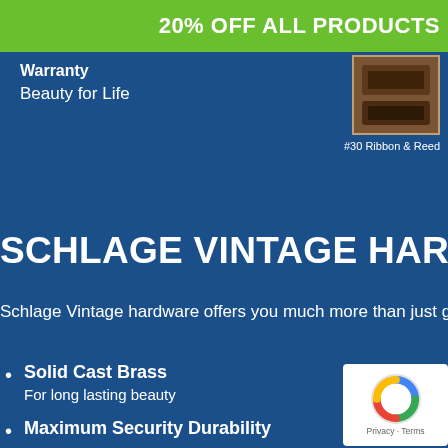20% OFF ALL PRODUCTS
Warranty
Beauty for Life
[Figure (photo): Product thumbnail showing #30 Ribbon & Reed hardware finish in brown/dark tones]
#30 Ribbon & Reed
SCHLAGE VINTAGE HARDWARE
Schlage Vintage hardware offers you much more than just gre
Solid Cast Brass
For long lasting beauty
[Figure (logo): Google reCAPTCHA logo with Privacy and Terms text]
Maximum Security Durability